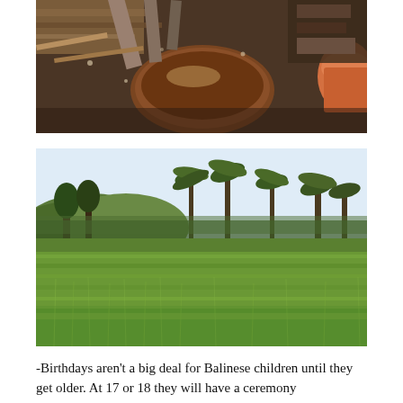[Figure (photo): Close-up photo of cluttered objects including a large brown bowl, metal items, wooden planks, and various tools or kitchen implements viewed from above.]
[Figure (photo): Landscape photo of lush green rice paddy fields in the foreground with tall palm trees and dense tropical forest in the background under a bright sky, typical of Bali, Indonesia.]
-Birthdays aren't a big deal for Balinese children until they get older. At 17 or 18 they will have a ceremony